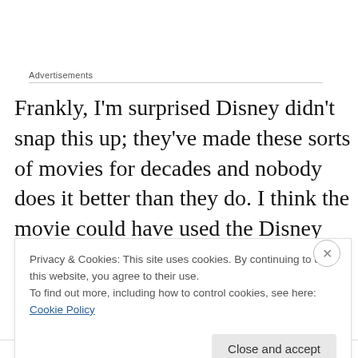Advertisements
Frankly, I'm surprised Disney didn't snap this up; they've made these sorts of movies for decades and nobody does it better than they do. I think the movie could have used the Disney touch a little bit; still, Johnson is just so damned likable that you can't help but like him in the movie, even though he's a bit of an arrogant prick for
Privacy & Cookies: This site uses cookies. By continuing to use this website, you agree to their use.
To find out more, including how to control cookies, see here: Cookie Policy
Close and accept